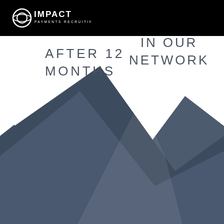[Figure (logo): Impact Payments Recruiting logo — white circle with ring and bold white text IMPACT, smaller text PAYMENTS RECRUITING below]
AFTER 12 MONTHS
IN OUR NETWORK
[Figure (illustration): Stylized mountain silhouette shapes in dark slate blue/gray color filling the lower two-thirds of the page, with white triangular valley spaces between peaks]